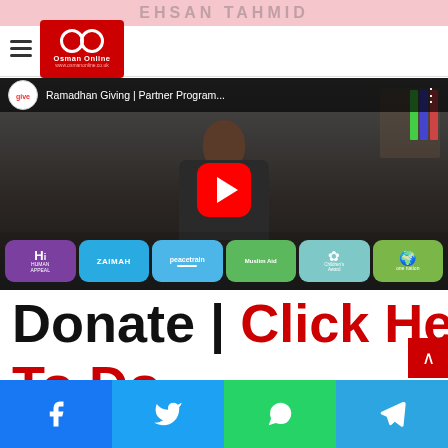EHSAN TAHMID — Osman Online website header with hamburger menu and logo
[Figure (screenshot): YouTube video thumbnail: Ramadhan Giving | Partner Program... by givebrite, showing a man in a dark shirt with charity logos (Human Appeal, Zaimah, Peacetrain, Muslim Aid, Children's Award, One Nation) at the bottom, with a red YouTube play button overlay]
Donate | Click Here
To Do...
[Figure (infographic): Social sharing bar with Facebook, Twitter, WhatsApp, and Telegram buttons]